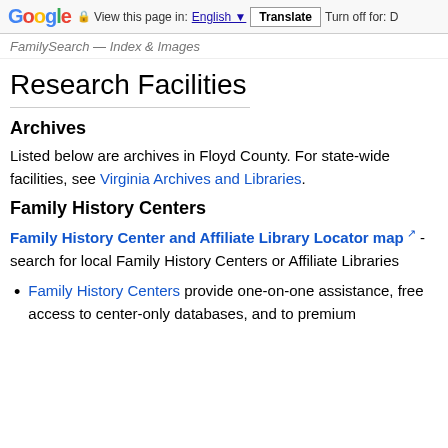Google  View this page in: English  Translate  Turn off for: D
FamilySearch — Index & Images
Research Facilities
Archives
Listed below are archives in Floyd County. For state-wide facilities, see Virginia Archives and Libraries.
Family History Centers
Family History Center and Affiliate Library Locator map - search for local Family History Centers or Affiliate Libraries
Family History Centers provide one-on-one assistance, free access to center-only databases, and to premium